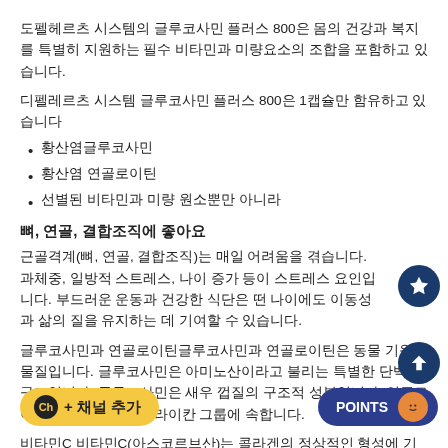도펠헤르츠 시스템의 글루코사민 플러스 800은 몸의 건강과 복지를 특별히 지원하는 필수 비타민과 미량요소의 조합을 포함하고 있습니다.
디펠레르츠 시스템 글루코사민 플러스 800은 1캡슐만 함유하고 있습니다
황산염글루코사민
황산염 연골로이틴
선별된 비타민과 미량 원소뿐만 아니라
뼈, 연골, 결합조직에 좋아요
근골격계(뼈, 연골, 결합조직)는 매일 어려움을 겪습니다. 과체중, 일방적 스트레스, 나이 증가 등이 스트레스 요인입니다. 부드러운 운동과 건강한 식단은 떤 나이에도 이동성과 삶의 질을 유지하는 데 기여할 수 있습니다.
글루코사민과 연골로이틴글루코사민과 연골로이틴은 동물 기원 물질입니다. 글루코사민은 아미노산이라고 불리는 특별한 단백질 구조입니다. 글루코사민은 새우 껍질의 구조적 성분입니다. 연골로이틴은 글루코사민 글라이칸 그룹에 속합니다.
비타민C 비타민C(아스코르브산)는 콜라겐의 정상적인 형성에 기여하여 연골의 정상적인 기능에 기여합니다.
D [채널 추가 버튼으로 가려짐] 의 지지와 안정적인 구조를 [POINTS 버튼으로 가려짐] 지